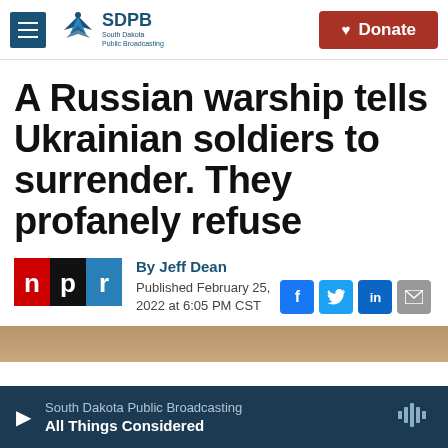SDPB South Dakota Public Broadcasting | Donate
A Russian warship tells Ukrainian soldiers to surrender. They profanely refuse
By Jeff Dean
Published February 25, 2022 at 6:05 PM CST
South Dakota Public Broadcasting — All Things Considered